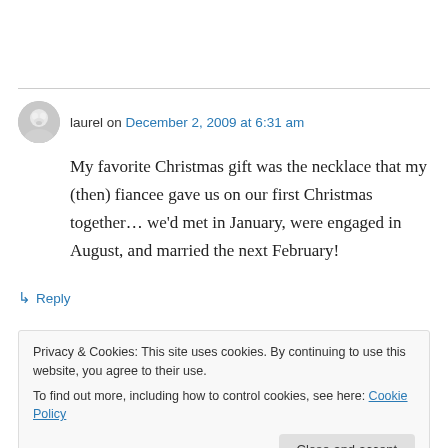laurel on December 2, 2009 at 6:31 am
My favorite Christmas gift was the necklace that my (then) fiancee gave us on our first Christmas together… we'd met in January, were engaged in August, and married the next February!
↳ Reply
Privacy & Cookies: This site uses cookies. By continuing to use this website, you agree to their use. To find out more, including how to control cookies, see here: Cookie Policy
Close and accept
barbie doll house based off a picture my mom